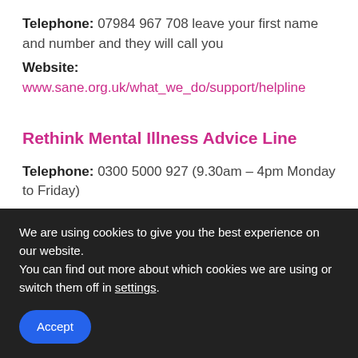Telephone: 07984 967 708 leave your first name and number and they will call you
Website: www.sane.org.uk/what_we_do/support/helpline
Rethink Mental Illness Advice Line
Telephone: 0300 5000 927 (9.30am – 4pm Monday to Friday)
Email: advice@rethink.org
Website: http://www.rethink.org/about-us/our-mental-
We are using cookies to give you the best experience on our website.
You can find out more about which cookies we are using or switch them off in settings.